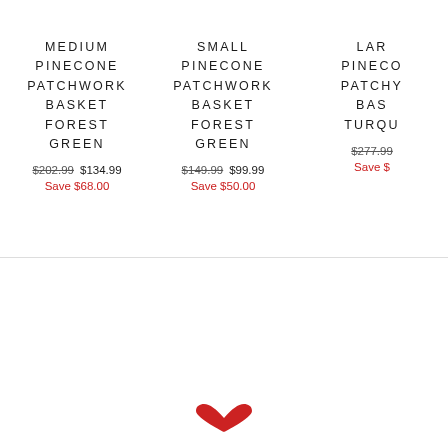MEDIUM PINECONE PATCHWORK BASKET FOREST GREEN
$202.99  $134.99  Save $68.00
SMALL PINECONE PATCHWORK BASKET FOREST GREEN
$149.99  $99.99  Save $50.00
LAR PINECO PATCHY BAS TURQU
$277.99  Save $
[Figure (illustration): Red heart/love icon at bottom center of page]